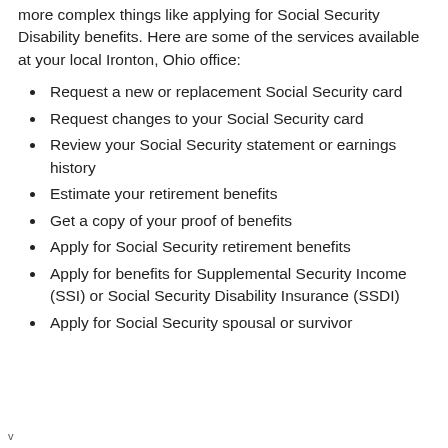more complex things like applying for Social Security Disability benefits. Here are some of the services available at your local Ironton, Ohio office:
Request a new or replacement Social Security card
Request changes to your Social Security card
Review your Social Security statement or earnings history
Estimate your retirement benefits
Get a copy of your proof of benefits
Apply for Social Security retirement benefits
Apply for benefits for Supplemental Security Income (SSI) or Social Security Disability Insurance (SSDI)
Apply for Social Security spousal or survivor